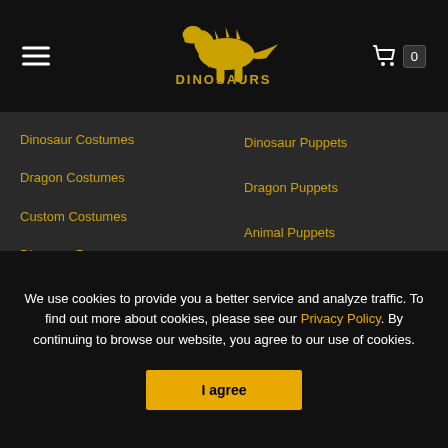DINOSAURS — navigation header with hamburger menu, logo, and cart icon
Dinosaur Costumes
Dinosaur Puppets
Dragon Costumes
Dragon Puppets
Custom Costumes
Animal Puppets
Dinosaur Props
Fossil Replicas
Dinosaur Rides
Custom Products
Animatronic Dinosaurs
Animatronic Animals
Animatronic Dragons
We use cookies to provide you a better service and analyze traffic. To find out more about cookies, please see our Privacy Policy. By continuing to browse our website, you agree to our use of cookies.
I agree